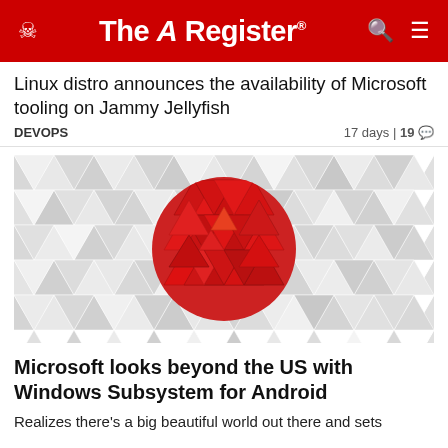The Register
Linux distro announces the availability of Microsoft tooling on Jammy Jellyfish
DEVOPS   17 days | 19 💬
[Figure (illustration): Geometric triangular pattern background in shades of grey and white, with a large red circle in the center made of red triangular polygons, resembling the Japanese flag.]
Microsoft looks beyond the US with Windows Subsystem for Android
Realizes there's a big beautiful world out there and sets